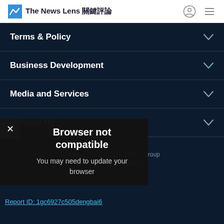The News Lens 關鍵評論
Terms & Policy
Business Development
Media and Services
Contact Us
Browser not compatible
You may need to update your browser
Report ID: 1gc6927c505dengbai6
Copyright © 2022 TNL Media Group
Powered by GliaStudio